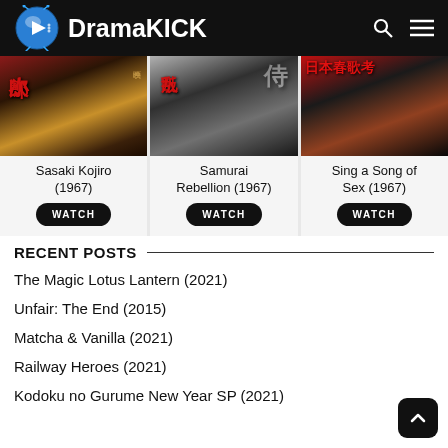DramaKICK
[Figure (screenshot): Movie poster for Sasaki Kojiro (1967)]
Sasaki Kojiro (1967)
WATCH
[Figure (screenshot): Movie poster for Samurai Rebellion (1967)]
Samurai Rebellion (1967)
WATCH
[Figure (screenshot): Movie poster for Sing a Song of Sex (1967)]
Sing a Song of Sex (1967)
WATCH
RECENT POSTS
The Magic Lotus Lantern (2021)
Unfair: The End (2015)
Matcha & Vanilla (2021)
Railway Heroes (2021)
Kodoku no Gurume New Year SP (2021)